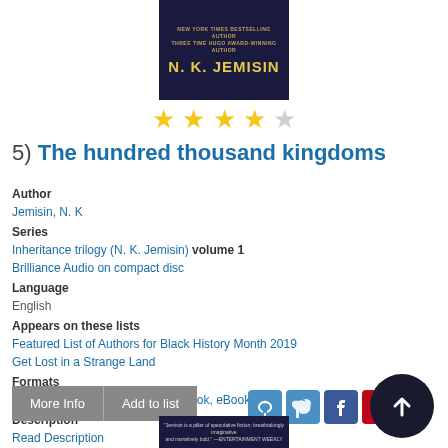[Figure (photo): Book cover for 'The Hundred Thousand Kingdoms' by N. K. Jemisin, dark blue background with gold author name text and taglines 'New York Times Bestselling Author' and 'Three Time Hugo Award-Winning Author']
[Figure (other): 4 out of 5 yellow stars rating]
5) The hundred thousand kingdoms
Author
Jemisin, N. K
Series
Inheritance trilogy (N. K. Jemisin) volume 1
Brilliance Audio on compact disc
Language
English
Appears on these lists
Featured List of Authors for Black History Month 2019
Get Lost in a Strange Land
Formats
Book, Audiobook on CD, eAudiobook, eBook
Description
Read Description
[Figure (other): Book cover bottom of page, dark background with small text quote from Entertainment Weekly]